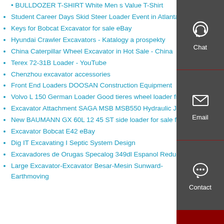BULLDOZER T-SHIRT White Men s Value T-Shirt
Student Career Days Skid Steer Loader Event in Atlanta
Keys for Bobcat Excavator for sale eBay
Hyundai Crawler Excavators - Katalogy a prospekty
China Caterpillar Wheel Excavator in Hot Sale - China
Terex 72-31B Loader - YouTube
Chenzhou excavator accessories
Front End Loaders DOOSAN Construction Equipment
Volvo L 150 German Loader Good tieres wheel loader from
Excavator Attachment SAGA MSB MSB550 Hydraulic Ja
New BAUMANN GX 60L 12 45 ST side loader for sale from
Excavator Bobcat E42 eBay
Dig IT Excavating I Septic System Design
Excavadores de Orugas Specalog 349dl Espanol Reducido
Large Excavator-Excavator Besar-Mesin Sunward-Earthmoving
[Figure (infographic): Dark grey sidebar widget panel with three sections: Chat (headphone icon), Email (envelope icon), and Contact (speech bubble icon), separated by red dividing lines. A dark red bar at the bottom.]